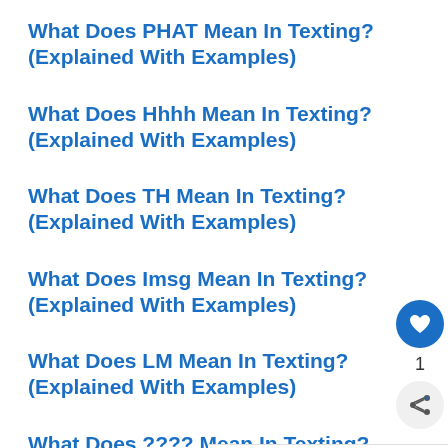What Does PHAT Mean In Texting? (Explained With Examples)
What Does Hhhh Mean In Texting? (Explained With Examples)
What Does TH Mean In Texting? (Explained With Examples)
What Does Imsg Mean In Texting? (Explained With Examples)
What Does LM Mean In Texting? (Explained With Examples)
What Does ???? Mean In Texting? (Explained With Examples)